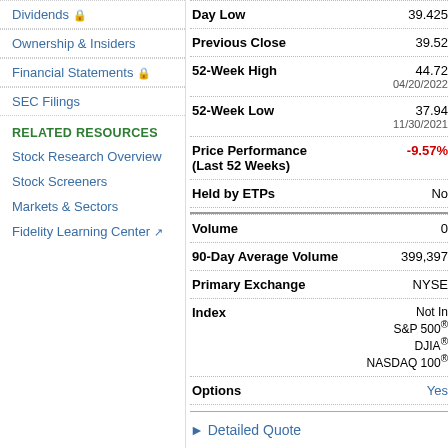Dividends 🔒
Ownership & Insiders
Financial Statements 🔒
SEC Filings
RELATED RESOURCES
Stock Research Overview
Stock Screeners
Markets & Sectors
Fidelity Learning Center ↗
| Label | Value |
| --- | --- |
| Day Low | 39.425 |
| Previous Close | 39.52 |
| 52-Week High | 44.72
04/20/2022 |
| 52-Week Low | 37.94
11/30/2021 |
| Price Performance (Last 52 Weeks) | -9.57% |
| Held by ETPs | No |
| Volume | 0 |
| 90-Day Average Volume | 399,397 |
| Primary Exchange | NYSE |
| Index | Not In
S&P 500®
DJIA®
NASDAQ 100® |
| Options | Yes |
▶ Detailed Quote